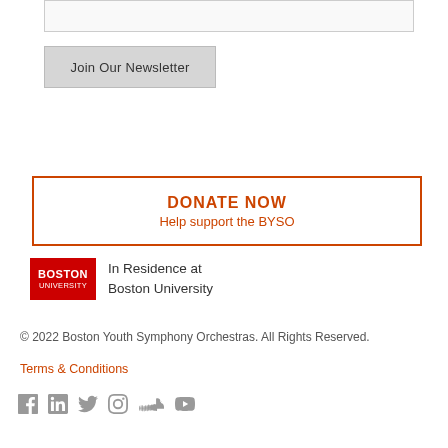[Figure (other): Email input text field (empty, light gray background with border)]
Join Our Newsletter
[Figure (other): DONATE NOW banner with orange border. Text: 'DONATE NOW' and 'Help support the BYSO']
[Figure (logo): Boston University red logo block with text 'BOSTON UNIVERSITY' followed by 'In Residence at Boston University']
© 2022 Boston Youth Symphony Orchestras. All Rights Reserved.
Terms & Conditions
[Figure (other): Social media icons: Facebook, LinkedIn, Twitter, Instagram, SoundCloud, YouTube — all in gray]